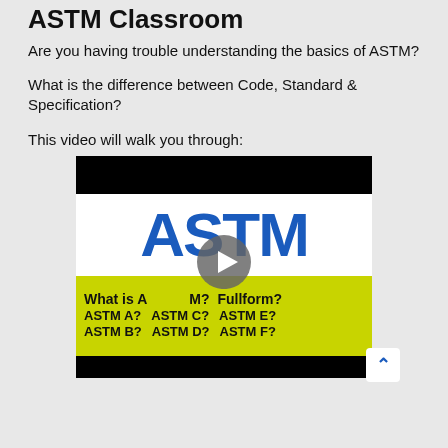ASTM Classroom
Are you having trouble understanding the basics of ASTM?
What is the difference between Code, Standard & Specification?
This video will walk you through:
[Figure (screenshot): Video thumbnail showing ASTM in large blue letters on white background with yellow band below containing text: 'What is ASTM? Fullform? ASTM A? ASTM C? ASTM E? ASTM B? ASTM D? ASTM F?' and a play button overlay. Black bars at top and bottom of video player.]